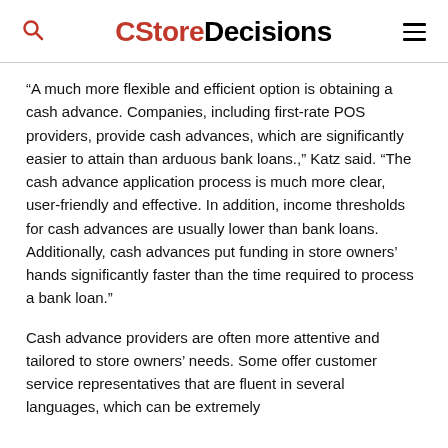CStoreDecisions
“A much more flexible and efficient option is obtaining a cash advance. Companies, including first-rate POS providers, provide cash advances, which are significantly easier to attain than arduous bank loans.,” Katz said. “The cash advance application process is much more clear, user-friendly and effective. In addition, income thresholds for cash advances are usually lower than bank loans. Additionally, cash advances put funding in store owners’ hands significantly faster than the time required to process a bank loan.”
Cash advance providers are often more attentive and tailored to store owners’ needs. Some offer customer service representatives that are fluent in several languages, which can be extremely